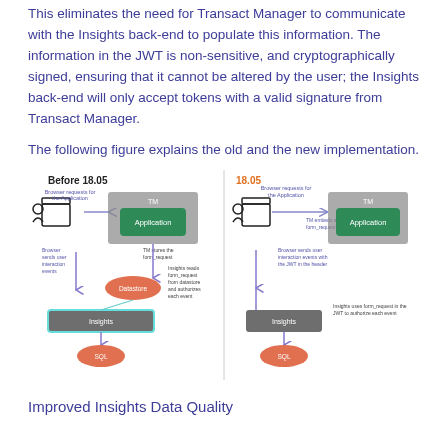This eliminates the need for Transact Manager to communicate with the Insights back-end to populate this information. The information in the JWT is non-sensitive, and cryptographically signed, ensuring that it cannot be altered by the user; the Insights back-end will only accept tokens with a valid signature from Transact Manager.
The following figure explains the old and the new implementation.
[Figure (infographic): Diagram showing two implementations: Before 18.05 (left) and 18.05 (right). Before 18.05: Browser requests for the Application go to TM (Application box), Browser sends user interaction events, TM stores the form_request in Datastore, Insights reads form_request from datastore and authorizes each event, then SQL. 18.05: Browser requests for the Application, TM embeds a JWT with form_request info, Browser sends user interaction events with the JWT in the header, Insights uses form_request in the JWT to authorize each event, then SQL.]
Improved Insights Data Quality